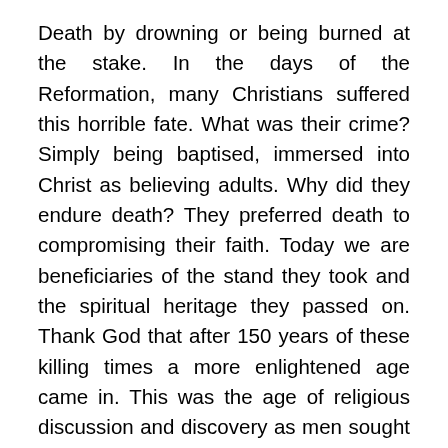Death by drowning or being burned at the stake. In the days of the Reformation, many Christians suffered this horrible fate. What was their crime? Simply being baptised, immersed into Christ as believing adults. Why did they endure death? They preferred death to compromising their faith. Today we are beneficiaries of the stand they took and the spiritual heritage they passed on. Thank God that after 150 years of these killing times a more enlightened age came in. This was the age of religious discussion and discovery as men sought the truth in religion. It was not easy to go against over 1500 years of human tradition. Where was truth to be found? In that which existed from the days of the apostles, the Word of God. Their spiritual quest also blesses our lives if we are but willing to listen. A further 100 years would elapse before